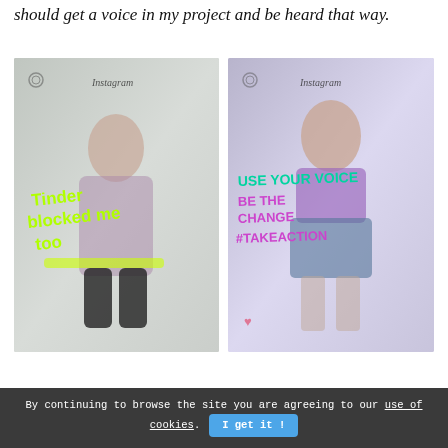should get a voice in my project and be heard that way.
[Figure (photo): Left photo: young woman crouching in front of a white sheet backdrop, holding a transparent panel with Instagram UI overlaid. Green neon text reads 'Tinder blocked me too'.]
[Figure (photo): Right photo: young woman standing in front of white sheet backdrop in purple off-shoulder top and denim skirt, holding a transparent panel with Instagram UI overlaid. Text reads 'USE YOUR VOICE BE THE CHANGE #TAKEACTION'.]
By continuing to browse the site you are agreeing to our use of cookies. I get it !